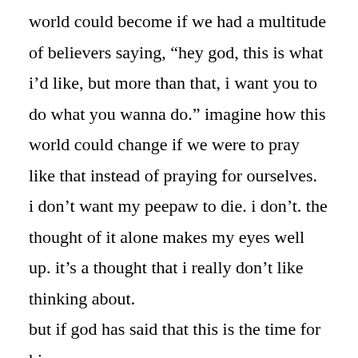world could become if we had a multitude of believers saying, “hey god, this is what i’d like, but more than that, i want you to do what you wanna do.” imagine how this world could change if we were to pray like that instead of praying for ourselves.

i don’t want my peepaw to die. i don’t. the thought of it alone makes my eyes well up. it’s a thought that i really don’t like thinking about.

but if god has said that this is the time for him